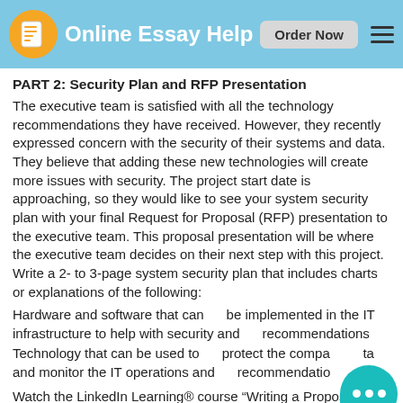Online Essay Help  Order Now
PART 2: Security Plan and RFP Presentation
The executive team is satisfied with all the technology recommendations they have received. However, they recently expressed concern with the security of their systems and data. They believe that adding these new technologies will create more issues with security. The project start date is approaching, so they would like to see your system security plan with your final Request for Proposal (RFP) presentation to the executive team. This proposal presentation will be where the executive team decides on their next step with this project. Write a 2- to 3-page system security plan that includes charts or explanations of the following:
Hardware and software that can     be implemented in the IT infrastructure to help with security and     recommendations
Technology that can be used to     protect the company data and monitor the IT operations and     recommendations
Watch the LinkedIn Learning® course "Writing a Proposal" with